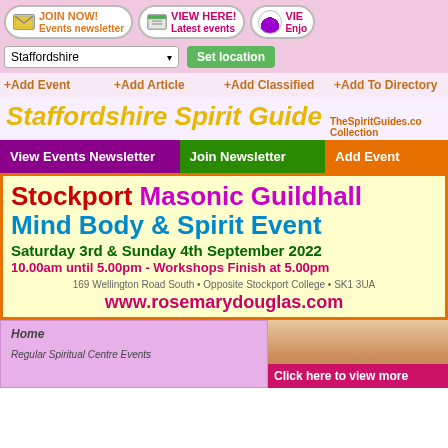[Figure (screenshot): Website navigation bar with JOIN NOW Events newsletter button, VIEW HERE Latest events button, and partial VIEW/Enjoy button on pink background]
Staffordshire | Set location
+Add Event   +Add Article   +Add Classified   +Add To Directory
Staffordshire Spirit Guide   TheSpiritGuides.co Collection
View Events Newsletter | Join Newsletter | Add Event
[Figure (infographic): Event banner: Stockport Masonic Guildhall Mind Body & Spirit Event. Saturday 3rd & Sunday 4th September 2022. 10.00am until 5.00pm - Workshops Finish at 5.00pm. 169 Wellington Road South · Opposite Stockport College · SK1 3UA. www.rosemarydouglas.com]
Home
Regular Spiritual Centre Events
[Figure (photo): Sandy/desert landscape with Click here to view more banner in pink at bottom]